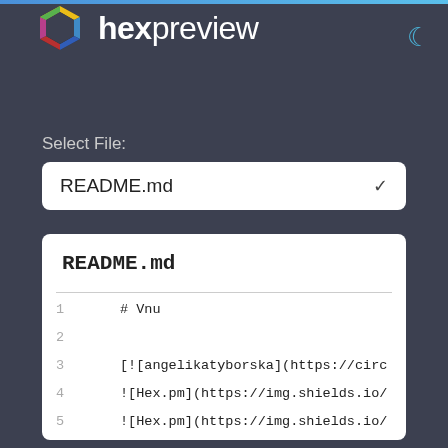hexpreview
Select File:
README.md
README.md
1   # Vnu
2
3   [![angelikatyborska](https://circ
4   ![Hex.pm](https://img.shields.io/
5   ![Hex.pm](https://img.shields.io/
6   ![Hex.pm](https://img.shields.io/